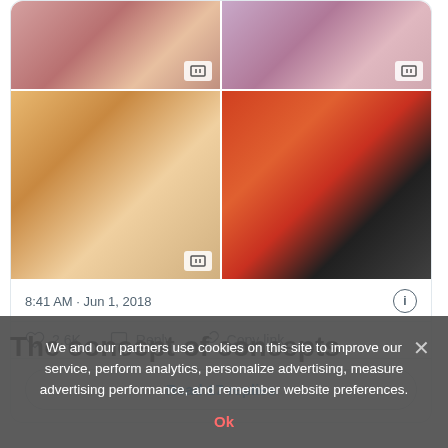[Figure (photo): Four-photo grid in a tweet card showing people, likely K-pop related photos]
8:41 AM · Jun 1, 2018
2.6K  Reply  Copy link
Read 17 replies
The concept of concepts
We and our partners use cookies on this site to improve our service, perform analytics, personalize advertising, measure advertising performance, and remember website preferences.
Ok